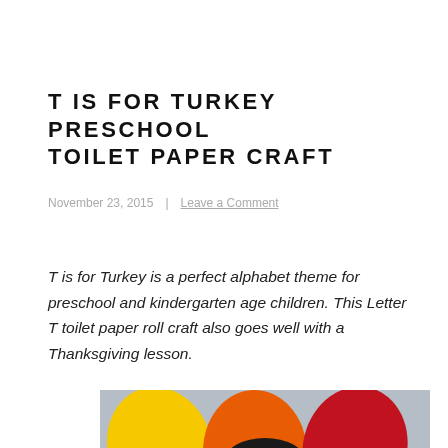T IS FOR TURKEY PRESCHOOL TOILET PAPER CRAFT
November 23, 2015   |   Leave a Comment
T is for Turkey is a perfect alphabet theme for preschool and kindergarten age children. This Letter T toilet paper roll craft also goes well with a Thanksgiving lesson.
[Figure (photo): Photo of a colorful paper turkey craft made from a toilet paper roll, with yellow, orange, and red paper feathers visible at the top of the image]